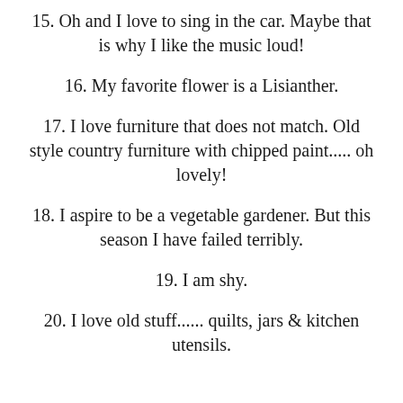15. Oh and I love to sing in the car. Maybe that is why I like the music loud!
16. My favorite flower is a Lisianther.
17. I love furniture that does not match. Old style country furniture with chipped paint..... oh lovely!
18. I aspire to be a vegetable gardener. But this season I have failed terribly.
19. I am shy.
20. I love old stuff...... quilts, jars & kitchen utensils.